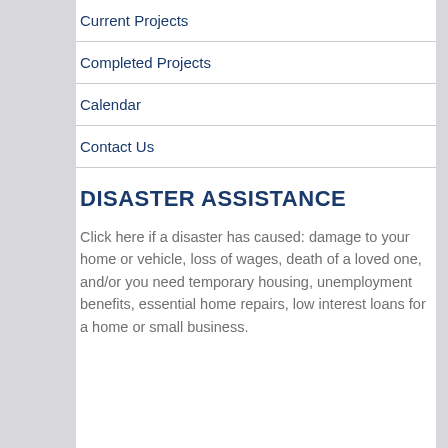Current Projects
Completed Projects
Calendar
Contact Us
DISASTER ASSISTANCE
Click here if a disaster has caused: damage to your home or vehicle, loss of wages, death of a loved one, and/or you need temporary housing, unemployment benefits, essential home repairs, low interest loans for a home or small business.